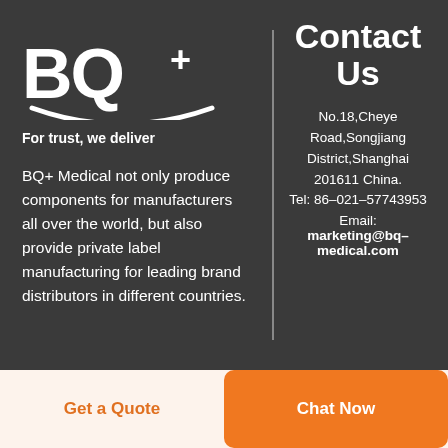[Figure (logo): BQ+ logo with smile graphic and tagline 'For trust, we deliver']
BQ+ Medical not only produce components for manufacturers all over the world, but also provide private label manufacturing for leading brand distributors in different countries.
Contact Us
No.18,Cheye Road,Songjiang District,Shanghai 201611 China. Tel: 86-021-57743953 Email: marketing@bq-medical.com
[Figure (logo): Facebook and LinkedIn social media icons]
Get a Quote
Chat Now